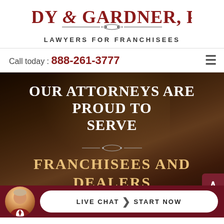[Figure (logo): Dady & Gardner, P.A. law firm logo with red serif lettering and decorative divider]
LAWYERS FOR FRANCHISEES
Call today : 888-261-3777
[Figure (screenshot): Hero image of a rustic interior room with warm lighting, serving as background]
OUR ATTORNEYS ARE PROUD TO SERVE
FRANCHISEES AND DEALERS NATIONWIDE
LIVE CHAT  START NOW